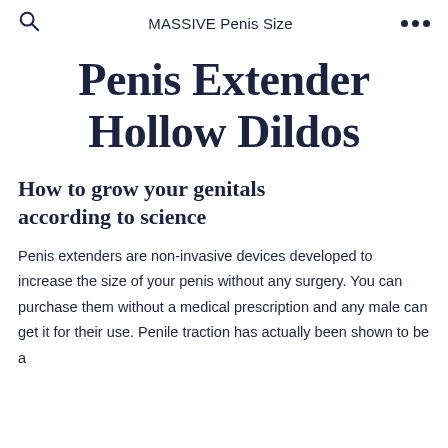MASSIVE Penis Size
Penis Extender Hollow Dildos
How to grow your genitals according to science
Penis extenders are non-invasive devices developed to increase the size of your penis without any surgery. You can purchase them without a medical prescription and any male can get it for their use. Penile traction has actually been shown to be a